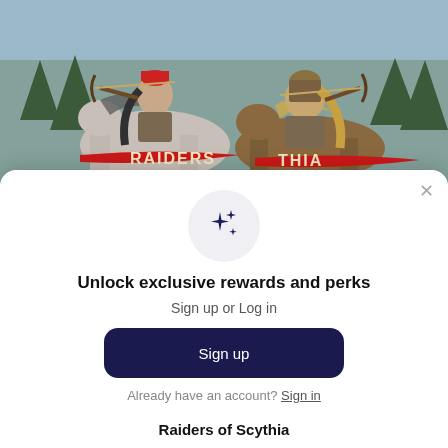[Figure (illustration): Fantasy illustration showing mounted horse archers in medieval armor with red banner reading RAIDERS and partial text THIA, with pine trees in background]
×
[Figure (illustration): Sparkle/stars icon inside a light grey circle]
Unlock exclusive rewards and perks
Sign up or Log in
Sign up
Already have an account? Sign in
Raiders of Scythia